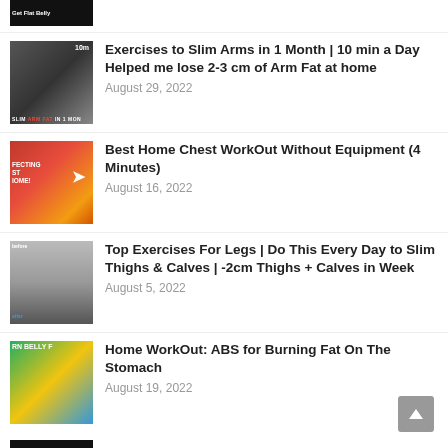(partial thumbnail — top item cut off)
Exercises to Slim Arms in 1 Month | 10 min a Day Helped me lose 2-3 cm of Arm Fat at home
August 29, 2022
Best Home Chest WorkOut Without Equipment (4 Minutes)
August 16, 2022
Top Exercises For Legs | Do This Every Day to Slim Thighs & Calves | -2cm Thighs + Calves in Week
August 5, 2022
Home WorkOut: ABS for Burning Fat On The Stomach
August 19, 2022
(partial thumbnail — bottom item cut off)